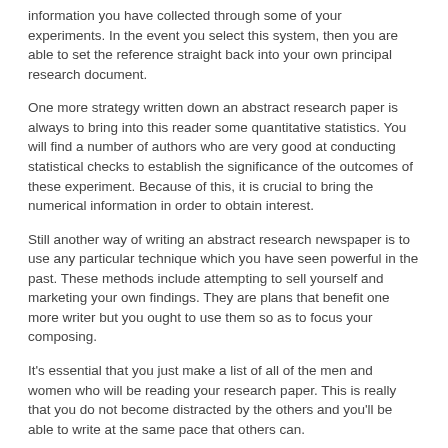information you have collected through some of your experiments. In the event you select this system, then you are able to set the reference straight back into your own principal research document.
One more strategy written down an abstract research paper is always to bring into this reader some quantitative statistics. You will find a number of authors who are very good at conducting statistical checks to establish the significance of the outcomes of these experiment. Because of this, it is crucial to bring the numerical information in order to obtain interest.
Still another way of writing an abstract research newspaper is to use any particular technique which you have seen powerful in the past. These methods include attempting to sell yourself and marketing your own findings. They are plans that benefit one more writer but you ought to use them so as to focus your composing.
It's essential that you just make a list of all of the men and women who will be reading your research paper. This is really that you do not become distracted by the others and you'll be able to write at the same pace that others can.